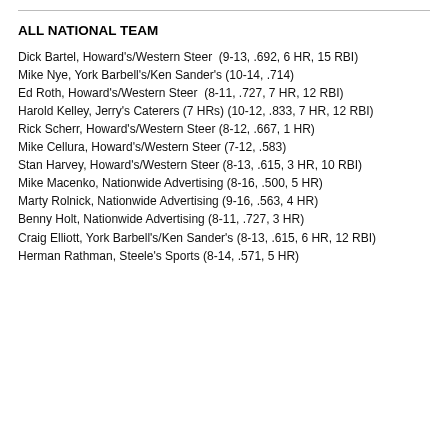ALL NATIONAL TEAM
Dick Bartel, Howard's/Western Steer  (9-13, .692, 6 HR, 15 RBI)
Mike Nye, York Barbell's/Ken Sander's (10-14, .714)
Ed Roth, Howard's/Western Steer  (8-11, .727, 7 HR, 12 RBI)
Harold Kelley, Jerry's Caterers (7 HRs) (10-12, .833, 7 HR, 12 RBI)
Rick Scherr, Howard's/Western Steer (8-12, .667, 1 HR)
Mike Cellura, Howard's/Western Steer (7-12, .583)
Stan Harvey, Howard's/Western Steer (8-13, .615, 3 HR, 10 RBI)
Mike Macenko, Nationwide Advertising (8-16, .500, 5 HR)
Marty Rolnick, Nationwide Advertising (9-16, .563, 4 HR)
Benny Holt, Nationwide Advertising (8-11, .727, 3 HR)
Craig Elliott, York Barbell's/Ken Sander's (8-13, .615, 6 HR, 12 RBI)
Herman Rathman, Steele's Sports (8-14, .571, 5 HR)